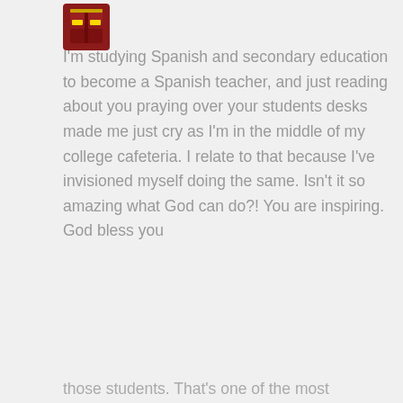[Figure (illustration): Small avatar icon showing Iron Man style helmet in red and gold pixels]
I'm studying Spanish and secondary education to become a Spanish teacher, and just reading about you praying over your students desks made me just cry as I'm in the middle of my college cafeteria. I relate to that because I've invisioned myself doing the same. Isn't it so amazing what God can do?! You are inspiring. God bless you
★ Like
Reply
Privacy & Cookies: This site uses cookies. By continuing to use this website, you agree to their use.
To find out more, including how to control cookies, see here: Cookie Policy
Close and accept
those students. That's one of the most important